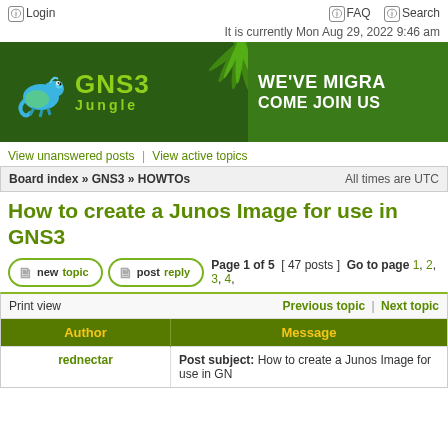Login   FAQ   Search
It is currently Mon Aug 29, 2022 9:46 am
[Figure (illustration): GNS3 Jungle banner with chameleon logo on dark green background. Text reads 'GNS3 Jungle' on left and 'WE'VE MIGRA... COME JOIN US' on right.]
View unanswered posts | View active topics
Board index » GNS3 » HOWTOs   All times are UTC
How to create a Junos Image for use in GNS3
Page 1 of 5  [ 47 posts ]  Go to page 1, 2, 3, 4,
| Author | Message |
| --- | --- |
| rednectar | Post subject: How to create a Junos Image for use in GN... |
Print view   Previous topic | Next topic